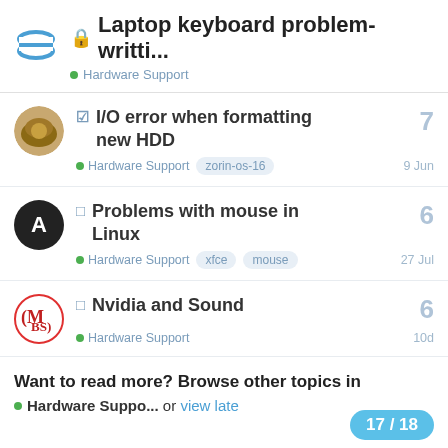🔒 Laptop keyboard problem- writti... • Hardware Support
☑ I/O error when formatting new HDD — Hardware Support zorin-os-16 — 9 Jun — 7 replies
□ Problems with mouse in Linux — Hardware Support xfce mouse — 27 Jul — 6 replies
□ Nvidia and Sound — Hardware Support — 10d — 6 replies
Want to read more? Browse other topics in
• Hardware Suppo... or view late
17 / 18